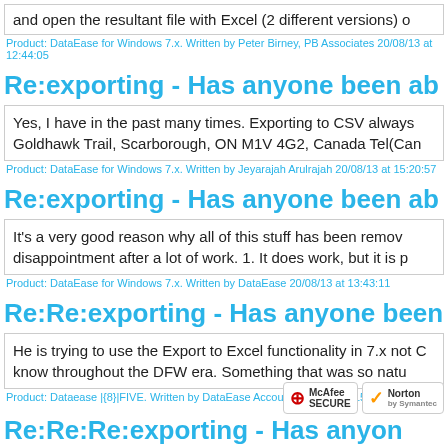and open the resultant file with Excel (2 different versions) o
Product: DataEase for Windows 7.x. Written by Peter Birney, PB Associates 20/08/13 at 12:44:05
Re:exporting - Has anyone been ab
Yes, I have in the past many times. Exporting to CSV always Goldhawk Trail, Scarborough, ON M1V 4G2, Canada Tel(Can
Product: DataEase for Windows 7.x. Written by Jeyarajah Arulrajah 20/08/13 at 15:20:57
Re:exporting - Has anyone been ab
It's a very good reason why all of this stuff has been remov disappointment after a lot of work. 1. It does work, but it is p
Product: DataEase for Windows 7.x. Written by DataEase 20/08/13 at 13:43:11
Re:Re:exporting - Has anyone been
He is trying to use the Export to Excel functionality in 7.x not C know throughout the DFW era. Something that was so natu
Product: Dataease |{8}|FIVE. Written by DataEase Account 20/08/13 at 15:57:15
Re:Re:Re:exporting - Has anyone b